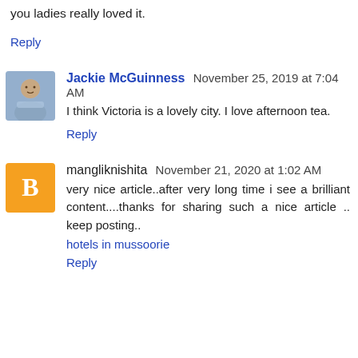you ladies really loved it.
Reply
Jackie McGuinness   November 25, 2019 at 7:04 AM
I think Victoria is a lovely city. I love afternoon tea.
Reply
mangliknishita   November 21, 2020 at 1:02 AM
very nice article..after very long time i see a brilliant content....thanks for sharing such a nice article .. keep posting..
hotels in mussoorie
Reply